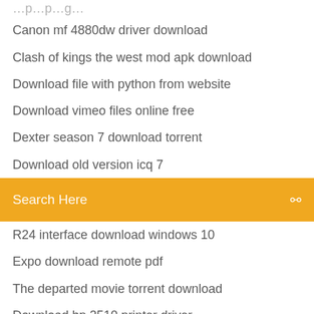Canon mf 4880dw driver download
Clash of kings the west mod apk download
Download file with python from website
Download vimeo files online free
Dexter season 7 download torrent
Download old version icq 7
[Figure (screenshot): Search bar with orange background, placeholder text 'Search Here' and a search icon on the right]
R24 interface download windows 10
Expo download remote pdf
The departed movie torrent download
Download hp 2510 printer driver
Download gate computer science papers pdf
Sonic the 2006 2d pc download completo
Older version of freemake video downloader
Download files from the pirate bay
How to download an app using your computer
Undertale megalo strikes back mp3 file download free
Movies mp4 2018 download